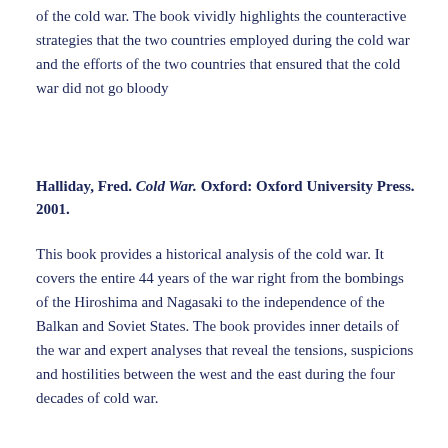of the cold war. The book vividly highlights the counteractive strategies that the two countries employed during the cold war and the efforts of the two countries that ensured that the cold war did not go bloody
Halliday, Fred. Cold War. Oxford: Oxford University Press. 2001.
This book provides a historical analysis of the cold war. It covers the entire 44 years of the war right from the bombings of the Hiroshima and Nagasaki to the independence of the Balkan and Soviet States. The book provides inner details of the war and expert analyses that reveal the tensions, suspicions and hostilities between the west and the east during the four decades of cold war.